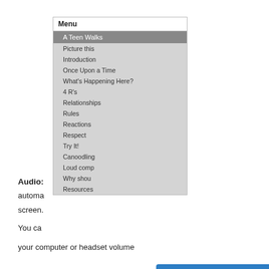Menu
A Teen Walks
Picture this
Introduction
Once Upon a Time
What's Happening Here?
4 R's
Relationships
Rules
Reactions
Respect
Try It!
Canoodling
Loud comp
Why shou
Resources
Audio:
automa
screen.
You ca
your computer or headset volume
[Figure (screenshot): Modal popup overlay on a website with blue background. Title reads 'Help Make This Site Better!' with body text 'Complete a quick 6-question survey to give us your feedback about this website.' and a button 'Take the Survey'. A yellow close button with X is in the top right corner.]